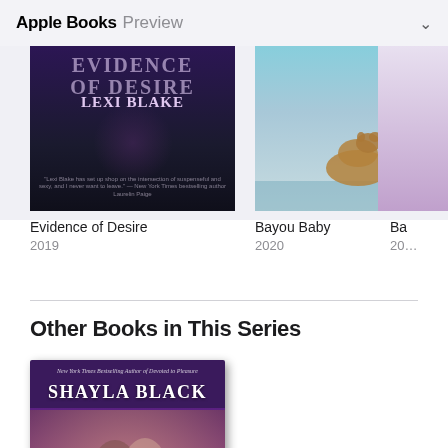Apple Books Preview
[Figure (photo): Book cover: Evidence of Desire by Lexi Blake (dark purple romance novel cover)]
[Figure (photo): Book cover: Bayou Baby (light blue cover with dog)]
[Figure (photo): Partially visible third book cover]
Evidence of Desire
2019
Bayou Baby
2020
Ba
20…
Other Books in This Series
[Figure (photo): Book cover: Shayla Black romance novel with couple embracing, purple background, text reads 'New York Times Bestselling Author of Devoted to Pleasure' and 'SHAYLA BLACK']